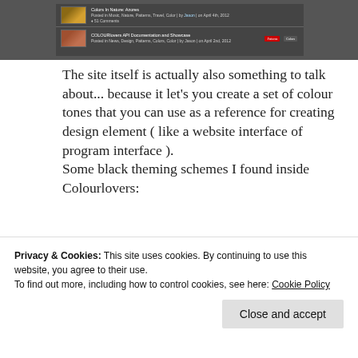[Figure (screenshot): Screenshot of a dark-themed website (Colourlovers) showing two blog post entries with thumbnails, titles, and small text metadata on a dark gray background.]
The site itself is actually also something to talk about... because it let's you create a set of colour tones that you can use as a reference for creating design element ( like a website interface of program interface ).
Some black theming schemes I found inside Colourlovers:
•
[Figure (screenshot): A gray color swatch/palette image from Colourlovers with the text 'They Take It Too Far' visible.]
Privacy & Cookies: This site uses cookies. By continuing to use this website, you agree to their use.
To find out more, including how to control cookies, see here: Cookie Policy
Close and accept